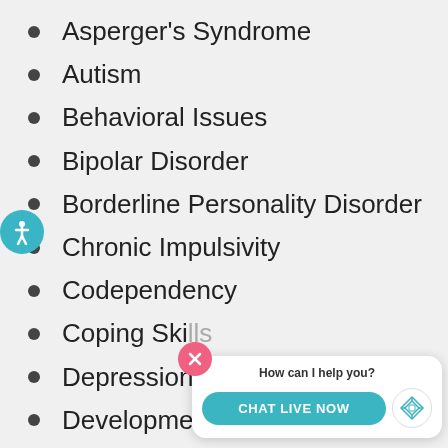Asperger's Syndrome
Autism
Behavioral Issues
Bipolar Disorder
Borderline Personality Disorder
Chronic Impulsivity
Codependency
Coping Ski…
Depression
Developmental Disorders
[Figure (screenshot): Chat widget with 'How can I help you?' text and 'CHAT LIVE NOW' button, with a close (X) button and logo icon.]
[Figure (other): Accessibility icon (person in circle) in teal color on left side]